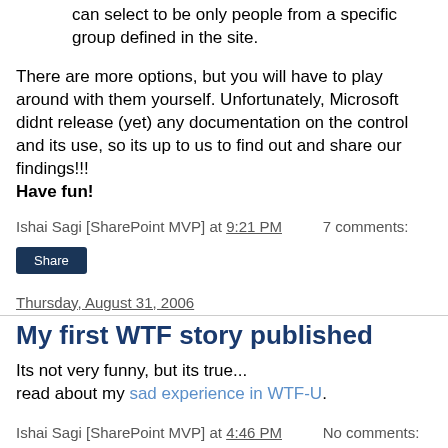can select to be only people from a specific group defined in the site.
There are more options, but you will have to play around with them yourself. Unfortunately, Microsoft didnt release (yet) any documentation on the control and its use, so its up to us to find out and share our findings!!! Have fun!
Ishai Sagi [SharePoint MVP] at 9:21 PM    7 comments:
Share
Thursday, August 31, 2006
My first WTF story published
Its not very funny, but its true...
read about my sad experience in WTF-U.
Ishai Sagi [SharePoint MVP] at 4:46 PM    No comments:
Share